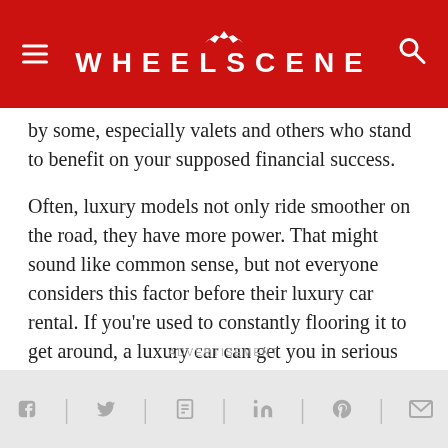WHEELSCENE
by some, especially valets and others who stand to benefit on your supposed financial success.
Often, luxury models not only ride smoother on the road, they have more power. That might sound like common sense, but not everyone considers this factor before their luxury car rental. If you're used to constantly flooring it to get around, a luxury car can get you in serious trouble literally in a hurry. This would require you to alter your normal driving style. On the flip side, enjoying extra power and feeling fewer bumps in the road is part of the point of luxury car rental, especially when it comes to exotics. So don't let this scare you away in the least.
ADVERTISEMENT
Social share bar: Facebook, Twitter, Share, LinkedIn, Pinterest, Email